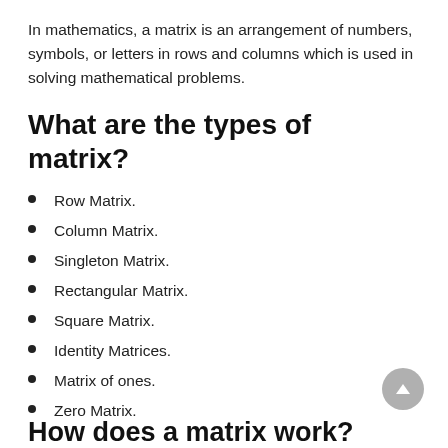In mathematics, a matrix is an arrangement of numbers, symbols, or letters in rows and columns which is used in solving mathematical problems.
What are the types of matrix?
Row Matrix.
Column Matrix.
Singleton Matrix.
Rectangular Matrix.
Square Matrix.
Identity Matrices.
Matrix of ones.
Zero Matrix.
How does a matrix work?